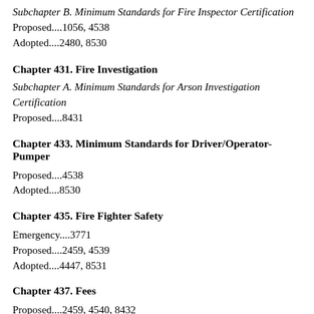Subchapter B. Minimum Standards for Fire Inspector Certification
Proposed....1056, 4538
Adopted....2480, 8530
Chapter 431. Fire Investigation
Subchapter A. Minimum Standards for Arson Investigation Certification
Proposed....8431
Chapter 433. Minimum Standards for Driver/Operator-Pumper
Proposed....4538
Adopted....8530
Chapter 435. Fire Fighter Safety
Emergency....3771
Proposed....2459, 4539
Adopted....4447, 8531
Chapter 437. Fees
Proposed....2459, 4540, 8432
Adopted....4447, 8531